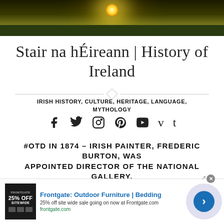[Figure (photo): Landscape photo of Irish countryside at sunset/sunrise with bright sun and green fields]
Stair na hÉireann | History of Ireland
IRISH HISTORY, CULTURE, HERITAGE, LANGUAGE, MYTHOLOGY
[Figure (other): Social media icons: Facebook, Twitter, Instagram, Pinterest, YouTube, Vimeo, Tumblr]
#OTD IN 1874 – IRISH PAINTER, FREDERIC BURTON, WAS APPOINTED DIRECTOR OF THE NATIONAL GALLERY, LONDON, AND BEGAN AN UNPRECEDENTED PROGRAMME OF ART COLLECTION
[Figure (other): Frontgate advertisement: Outdoor Furniture | Bedding – 25% off site wide sale going on now at Frontgate.com, frontgate.com]